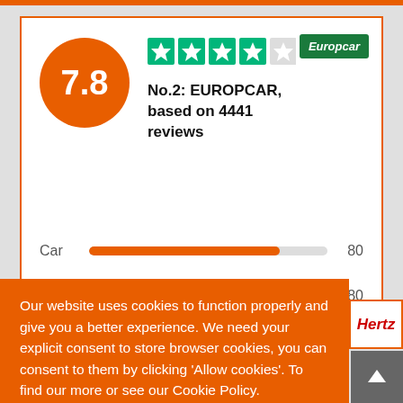[Figure (infographic): Europcar review card showing a score of 7.8 in an orange circle, 4 filled green stars and 1 half/empty star on Trustpilot, text 'No.2: EUROPCAR, based on 4441 reviews', Europcar logo in green, rating bars for Car (80) and Desk (80).]
Our website uses cookies to function properly and give you a better experience. We need your explicit consent to store browser cookies, you can consent to them by clicking 'Allow cookies'. To find our more or see our Cookie Policy.
Learn more
Allow Cookies